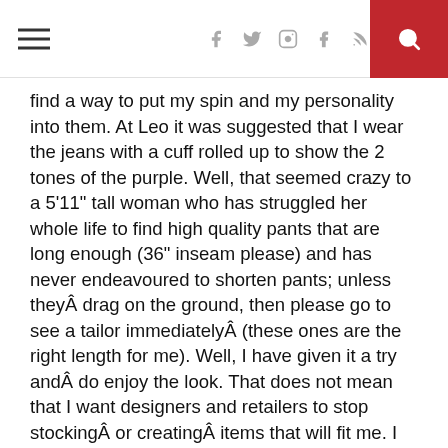Social icons: Facebook, Twitter, Instagram, Tumblr, RSS. Search button.
find a way to put my spin and my personality into them. At Leo it was suggested that I wear the jeans with a cuff rolled up to show the 2 tones of the purple. Well, that seemed crazy to a 5'11" tall woman who has struggled her whole life to find high quality pants that are long enough (36" inseam please) and has never endeavoured to shorten pants; unless theyÂ drag on the ground, then please go to see a tailor immediatelyÂ (these ones are the right length for me). Well, I have given it a try andÂ do enjoy the look. That does not mean that I want designers and retailers to stop stockingÂ or creatingÂ items that will fit me. I love fashion and I love the ability to participate in the latest trend but I do not appreciate being forced to pretend that a pant fits by adding an ankle boot or a tall boot. It is fun to have options. Thanks Leo for providing a fun time in your store. I enjoyed the experience in your store. You haveÂ great staff who really know their stock.